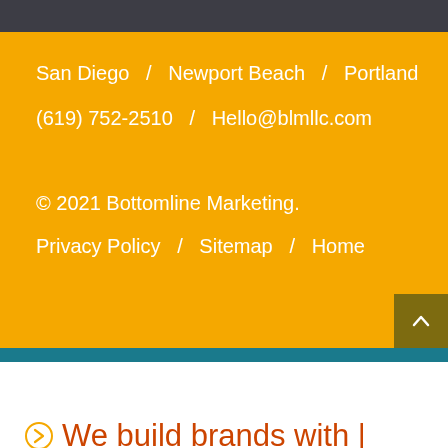San Diego  /  Newport Beach  /  Portland
(619) 752-2510  /  Hello@blmllc.com
© 2021 Bottomline Marketing.
Privacy Policy  /  Sitemap  /  Home
⊙ We build brands with |
Share This